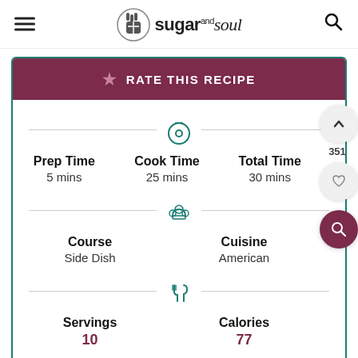sugar and soul
RATE THIS RECIPE
Prep Time 5 mins | Cook Time 25 mins | Total Time 30 mins
Course: Side Dish | Cuisine: American
Servings | Calories